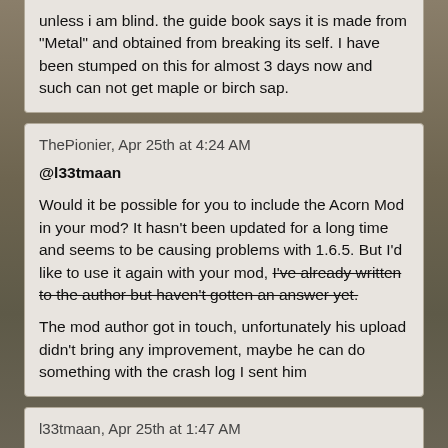unless i am blind. the guide book says it is made from "Metal" and obtained from breaking its self. I have been stumped on this for almost 3 days now and such can not get maple or birch sap.
ThePionier, Apr 25th at 4:24 AM
@l33tmaan
Would it be possible for you to include the Acorn Mod in your mod? It hasn't been updated for a long time and seems to be causing problems with 1.6.5. But I'd like to use it again with your mod, I've already written to the author but haven't gotten an answer yet.
The mod author got in touch, unfortunately his upload didn't bring any improvement, maybe he can do something with the crash log I sent him
l33tmaan, Apr 25th at 1:47 AM
That's not anything I changed. Perhaps it's a vanilla change to the way item transition works? I'm not sure